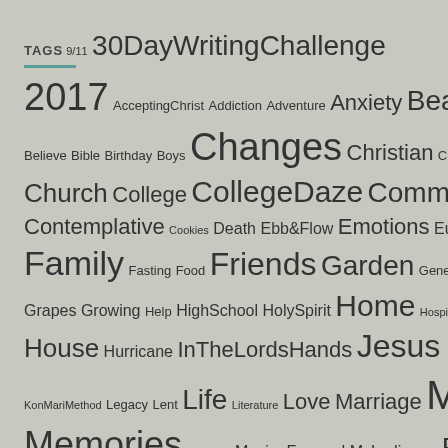TAGS 9/11 30DayWritingChallenge 2017 AcceptingChrist Addiction Adventure Anxiety Beach Believe Bible Birthday Boys Changes Christian Christmas Church College CollegeDaze Community Confidence Contemplative Cookies Death Ebb&Flow Emotions Europa Family Fasting Food Friends Garden Genealogy God Grapes Growing Help HighSchool HolySpirit Home Hospitality House Hurricane InTheLordsHands Jesus KonMariMethod Legacy Lent Life Literature Love Marriage Me Memories Michigan MovingForward MyLadies old Past Plants Poem PortAustin Prayer PureMichigan Random ReadOn